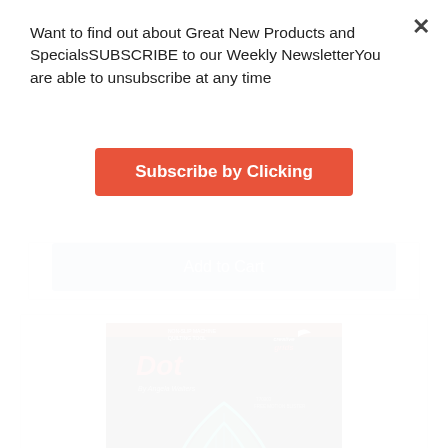Want to find out about Great New Products and SpecialsSUBSCRIBE to our Weekly NewsletterYou are able to unsubscribe at any time
[Figure (other): Red/orange rounded rectangle button with white bold text 'Subscribe by Clicking']
[Figure (other): Blue-grey 'Add to Cart' button inside a white bordered box]
[Figure (photo): Product packaging for 'Dot' quilting tool by Angela Walters / Creative Grids, showing a teal/cyan teardrop/arrow-shaped quilting ruler on a black starry background]